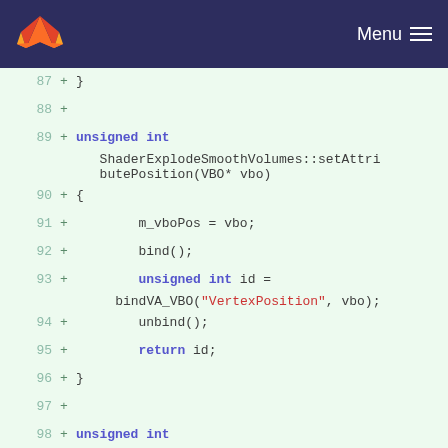[Figure (screenshot): GitLab navigation header with fox logo and Menu button on dark navy background]
Code diff view showing C++ source lines 87-101 with additions marked by + on green background. Lines include: 87: }, 88: (empty), 89: unsigned int ShaderExplodeSmoothVolumes::setAttributePosition(VBO* vbo), 90: {, 91: m_vboPos = vbo;, 92: bind();, 93: unsigned int id = bindVA_VBO("VertexPosition", vbo);, 94: unbind();, 95: return id;, 96: }, 97: (empty), 98: unsigned int ShaderExplodeSmoothVolumes::setAttributeColor(VBO* vbo), 99: {, 100: m_vboColors = vbo;, 101: bind();